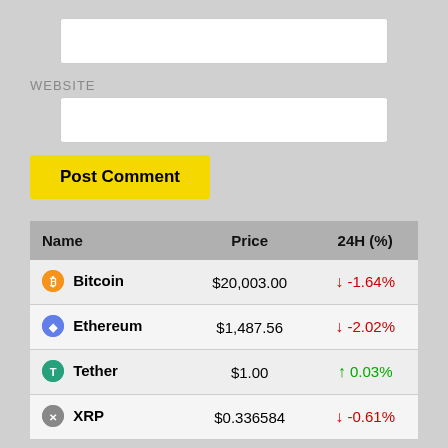[Figure (other): Empty white input text box (top)]
WEBSITE
[Figure (other): Empty white input text box (website)]
Post Comment
| Name | Price | 24H (%) |
| --- | --- | --- |
| Bitcoin | $20,003.00 | ↓ -1.64% |
| Ethereum | $1,487.56 | ↓ -2.02% |
| Tether | $1.00 | ↑ 0.03% |
| XRP | $0.336584 | ↓ -0.61% |